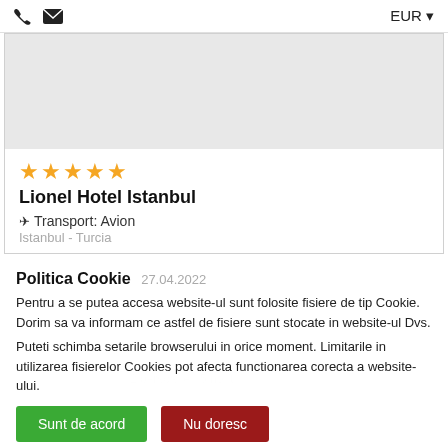EUR
[Figure (photo): Hotel image placeholder - gray rectangle]
★★★★★
Lionel Hotel Istanbul
✈ Transport: Avion
Istanbul - Turcia
Politica Cookie
Pentru a se putea accesa website-ul sunt folosite fisiere de tip Cookie. Dorim sa va informam ce astfel de fisiere sunt stocate in website-ul Dvs.
Puteti schimba setarile browserului in orice moment. Limitarile in utilizarea fisierelor Cookies pot afecta functionarea corecta a website-ului.
Sunt de acord
Nu doresc